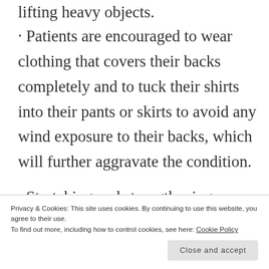lifting heavy objects.
· Patients are encouraged to wear clothing that covers their backs completely and to tuck their shirts into their pants or skirts to avoid any wind exposure to their backs, which will further aggravate the condition.
· Stretching and strengthening exercises for the back muscles are essential for long term recovery.
S...
Privacy & Cookies: This site uses cookies. By continuing to use this website, you agree to their use. To find out more, including how to control cookies, see here: Cookie Policy
Close and accept
Gong is recommended on a regular basis.